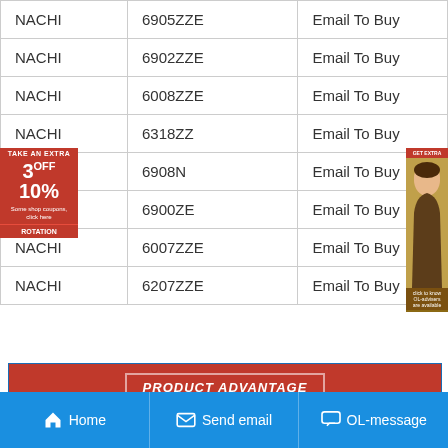| Brand | Model | Action |
| --- | --- | --- |
| NACHI | 6905ZZE | Email To Buy |
| NACHI | 6902ZZE | Email To Buy |
| NACHI | 6008ZZE | Email To Buy |
| NACHI | 6318ZZ | Email To Buy |
| NACHI | 6908N | Email To Buy |
| NACHI | 6900ZE | Email To Buy |
| NACHI | 6007ZZE | Email To Buy |
| NACHI | 6207ZZE | Email To Buy |
[Figure (infographic): PRODUCT ADVANTAGE banner with SKF, and FAG brand logos]
Home   Send email   OL-message